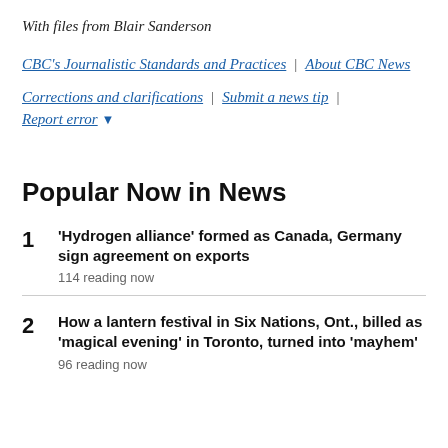With files from Blair Sanderson
CBC's Journalistic Standards and Practices | About CBC News
Corrections and clarifications | Submit a news tip | Report error ▼
Popular Now in News
1 'Hydrogen alliance' formed as Canada, Germany sign agreement on exports
114 reading now
2 How a lantern festival in Six Nations, Ont., billed as 'magical evening' in Toronto, turned into 'mayhem'
96 reading now